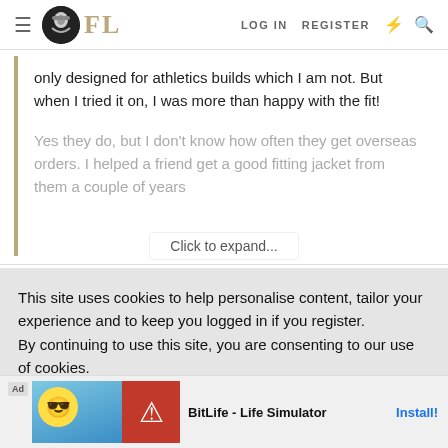FL | LOG IN | REGISTER
only designed for athletics builds which I am not. But when I tried it on, I was more than happy with the fit!
Yes they do, but I don't know how often they get overseas orders. I helped a friend get a good fitting jacket from them a couple of years
Click to expand...
This site uses cookies to help personalise content, tailor your experience and to keep you logged in if you register.
By continuing to use this site, you are consenting to our use of cookies.
✓ ACCEPT
LEARN MORE...
the Board Racer which is known to be hit or miss, once I get this cafe racer thing out of my system they might have
BitLife - Life Simulator
Install!